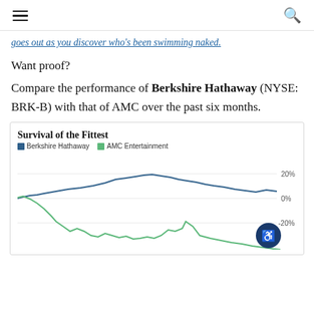Navigation header with hamburger menu and search icon
goes out as you discover who's been swimming naked.
Want proof?
Compare the performance of Berkshire Hathaway (NYSE: BRK-B) with that of AMC over the past six months.
[Figure (line-chart): Survival of the Fittest]